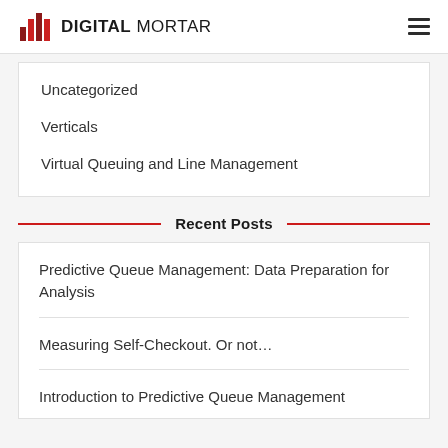DIGITAL MORTAR
Uncategorized
Verticals
Virtual Queuing and Line Management
Recent Posts
Predictive Queue Management: Data Preparation for Analysis
Measuring Self-Checkout. Or not…
Introduction to Predictive Queue Management